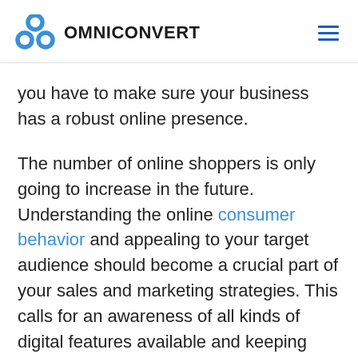OMNICONVERT
you have to make sure your business has a robust online presence.
The number of online shoppers is only going to increase in the future. Understanding the online consumer behavior and appealing to your target audience should become a crucial part of your sales and marketing strategies. This calls for an awareness of all kinds of digital features available and keeping your eCommerce business up to date with top-notch eCommerce